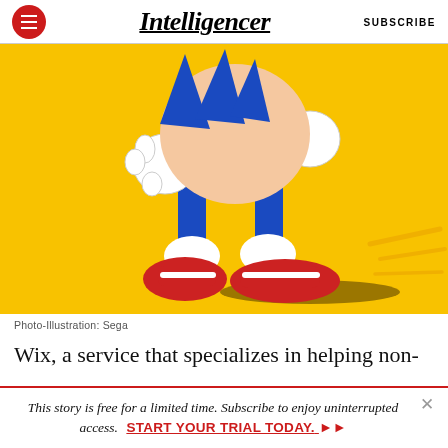Intelligencer   SUBSCRIBE
[Figure (illustration): Sonic the Hedgehog cartoon character running, showing legs with red shoes and white gloves against a bright yellow background. Photo-Illustration by Sega.]
Photo-Illustration: Sega
Wix, a service that specializes in helping non-
This story is free for a limited time. Subscribe to enjoy uninterrupted access.   START YOUR TRIAL TODAY.  ▶▶